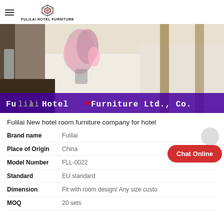FULILAI HOTEL FURNITURE
[Figure (photo): Hotel room with a bed dressed in white and gold linens, flowers in background. Overlay banner: Fulilai Hotel Furniture Ltd., Co.]
Fulilai New hotel room furniture company for hotel
| Attribute | Value |
| --- | --- |
| Brand name | Fulilai |
| Place of Origin | China |
| Model Number | FLL-0022 |
| Standard | EU standard |
| Dimension | Fit with room design/ Any size customized |
| MOQ | 20 sets |